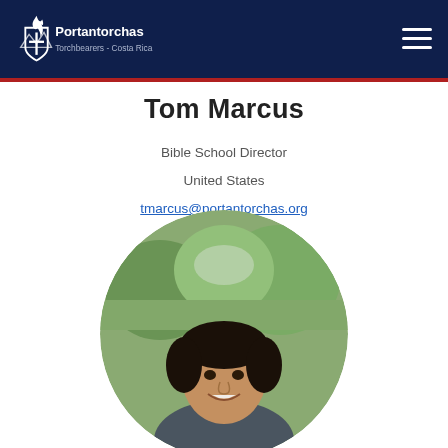Portantorchas — Torchbearers - Costa Rica
Tom Marcus
Bible School Director
United States
tmarcus@portantorchas.org
[Figure (photo): Circular portrait photo of Tom Marcus, a man with dark hair, smiling, outdoors with green trees in background]